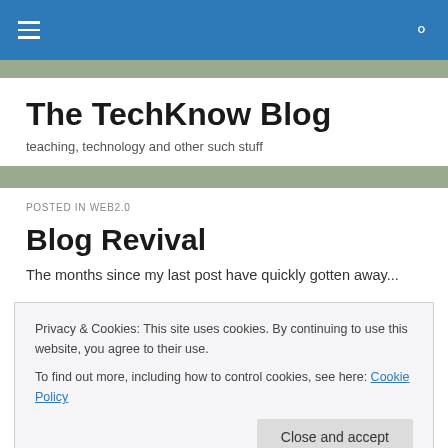The TechKnow Blog — top navigation bar
The TechKnow Blog
teaching, technology and other such stuff
POSTED IN WEB2.0
Blog Revival
Privacy & Cookies: This site uses cookies. By continuing to use this website, you agree to their use.
To find out more, including how to control cookies, see here: Cookie Policy
information for the faculty and staff in my school for new